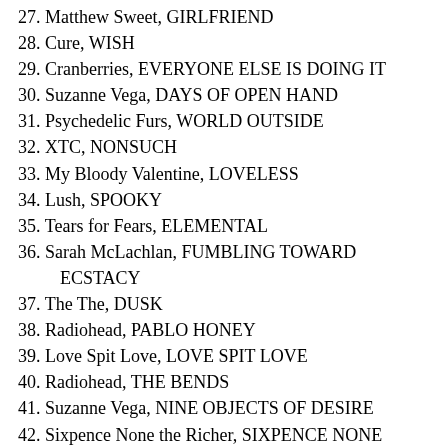27. Matthew Sweet, GIRLFRIEND
28. Cure, WISH
29. Cranberries, EVERYONE ELSE IS DOING IT
30. Suzanne Vega, DAYS OF OPEN HAND
31. Psychedelic Furs, WORLD OUTSIDE
32. XTC, NONSUCH
33. My Bloody Valentine, LOVELESS
34. Lush, SPOOKY
35. Tears for Fears, ELEMENTAL
36. Sarah McLachlan, FUMBLING TOWARD ECSTACY
37. The The, DUSK
38. Radiohead, PABLO HONEY
39. Love Spit Love, LOVE SPIT LOVE
40. Radiohead, THE BENDS
41. Suzanne Vega, NINE OBJECTS OF DESIRE
42. Sixpence None the Richer, SIXPENCE NONE